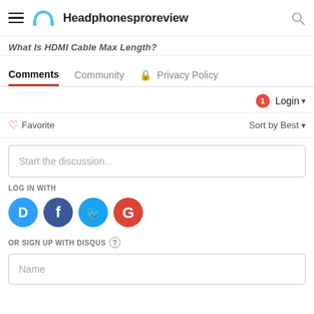Headphonesproreview
What Is HDMI Cable Max Length?
Comments  Community  Privacy Policy
Login
Favorite  Sort by Best
Start the discussion...
LOG IN WITH
[Figure (other): Social login icons: Disqus (blue), Facebook (dark blue), Twitter (light blue), Google (red)]
OR SIGN UP WITH DISQUS ?
Name